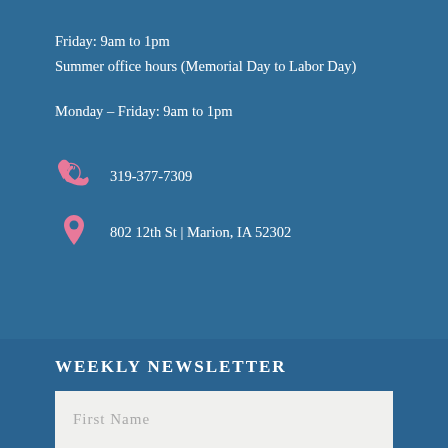Friday:  9am to 1pm
Summer office hours (Memorial Day to Labor Day)
Monday – Friday:  9am to 1pm
319-377-7309
802 12th St | Marion, IA 52302
[Figure (other): Hamburger menu button: white square with three horizontal dark lines]
WEEKLY NEWSLETTER
First Name